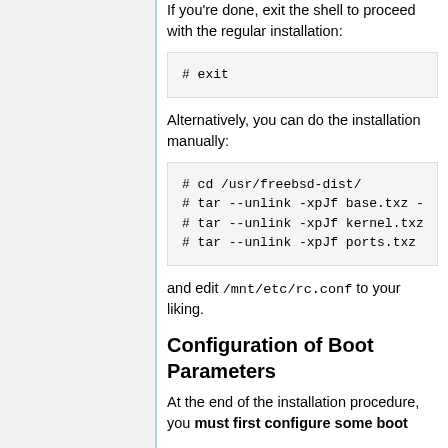If you're done, exit the shell to proceed with the regular installation:
# exit
Alternatively, you can do the installation manually:
# cd /usr/freebsd-dist/
# tar --unlink -xpJf base.txz -
# tar --unlink -xpJf kernel.txz
# tar --unlink -xpJf ports.txz
and edit /mnt/etc/rc.conf to your liking.
Configuration of Boot Parameters
At the end of the installation procedure, you must first configure some boot